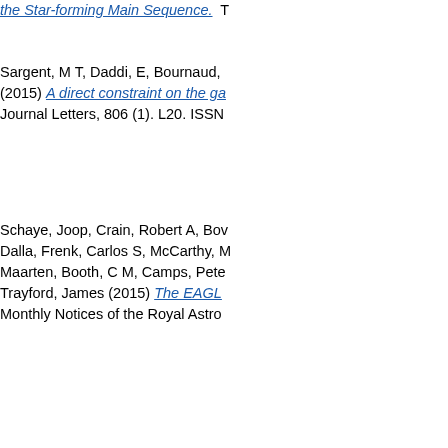the Star-forming Main Sequence.
Sargent, M T, Daddi, E, Bournaud, ... (2015) A direct constraint on the ga... Journal Letters, 806 (1). L20. ISSN
Schaye, Joop, Crain, Robert A, Bov... Dalla, Frenk, Carlos S, McCarthy, M... Maarten, Booth, C M, Camps, Pete... Trayford, James (2015) The EAGL... Monthly Notices of the Royal Astro...
Schreiber, C, Pannella, M, Elbaz, D... (2015) The Herschel view of the do... Astrophysics, 575. a74. ISSN 0004
Shalaby, Mostafa, Peccianti, Marco... spectral shaping of broadband tera... ISSN 0003-6951
Shamshiri, S, Thomas, P A, Henriq... the Planck cosmology - II. Star-form... Royal Astronomical Society, 451 (3...
Sharma, Arijit, Ray, Tridib, Sawant,... resonant light transmission for an a...